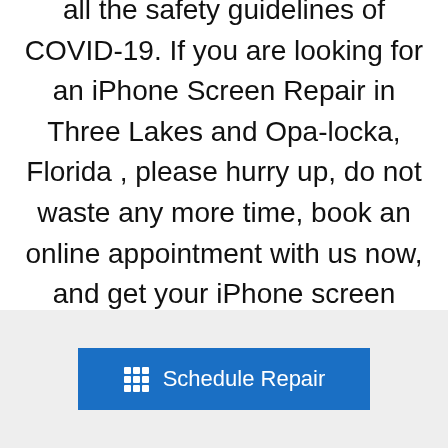all the safety guidelines of COVID-19. If you are looking for an iPhone Screen Repair in Three Lakes and Opa-locka, Florida , please hurry up, do not waste any more time, book an online appointment with us now, and get your iPhone screen repaired in twenty minutes.
[Figure (other): Blue 'Schedule Repair' button with a grid/calendar icon on the left, displayed on a light gray background footer section.]